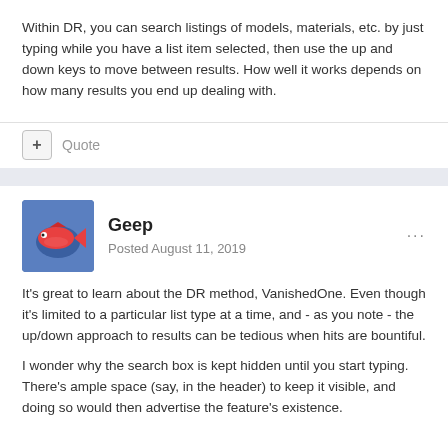Within DR, you can search listings of models, materials, etc. by just typing while you have a list item selected, then use the up and down keys to move between results. How well it works depends on how many results you end up dealing with.
+ Quote
Geep
Posted August 11, 2019
It's great to learn about the DR method, VanishedOne. Even though it's limited to a particular list type at a time, and - as you note - the up/down approach to results can be tedious when hits are bountiful.
I wonder why the search box is kept hidden until you start typing. There's ample space (say, in the header) to keep it visible, and doing so would then advertise the feature's existence.